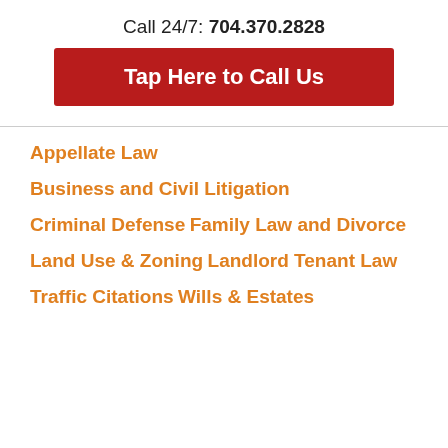Call 24/7: 704.370.2828
[Figure (other): Red button with white text: Tap Here to Call Us]
Appellate Law
Business and Civil Litigation
Criminal Defense
Family Law and Divorce
Land Use & Zoning
Landlord Tenant Law
Traffic Citations
Wills & Estates